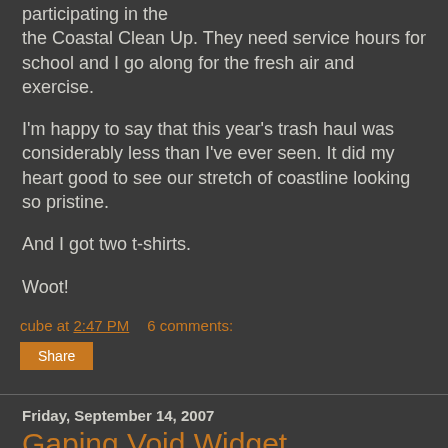participating in the the Coastal Clean Up. They need service hours for school and I go along for the fresh air and exercise.
I'm happy to say that this year's trash haul was considerably less than I've ever seen. It did my heart good to see our stretch of coastline looking so pristine.
And I got two t-shirts.
Woot!
cube at 2:47 PM    6 comments:
Share
Friday, September 14, 2007
Gaping Void Widget
[Figure (illustration): Small black and white sketch of a figure, possibly a person with equipment, on a white background]